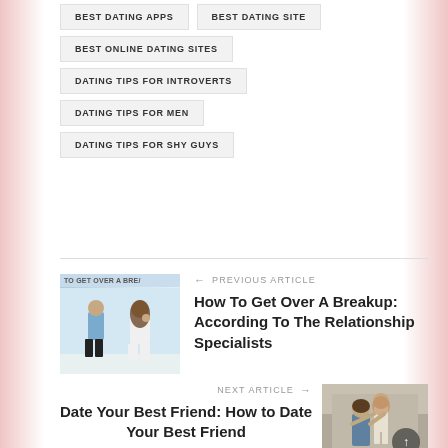BEST DATING APPS
BEST DATING SITE
BEST ONLINE DATING SITES
DATING TIPS FOR INTROVERTS
DATING TIPS FOR MEN
DATING TIPS FOR SHY GUYS
[Figure (photo): Image thumbnail for breakup article showing a couple standing apart]
← PREVIOUS ARTICLE
How To Get Over A Breakup: According To The Relationship Specialists
NEXT ARTICLE →
Date Your Best Friend: How to Date Your Best Friend
[Figure (photo): Image thumbnail for best friend dating article showing a happy couple]